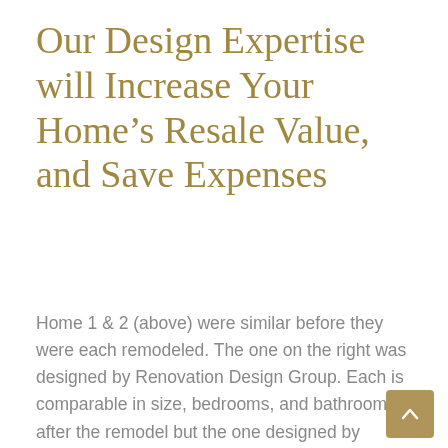Our Design Expertise will Increase Your Home’s Resale Value, and Save Expenses
Home 1 & 2 (above) were similar before they were each remodeled. The one on the right was designed by Renovation Design Group. Each is comparable in size, bedrooms, and bathrooms after the remodel but the one designed by Renovation Design Group has a much higher